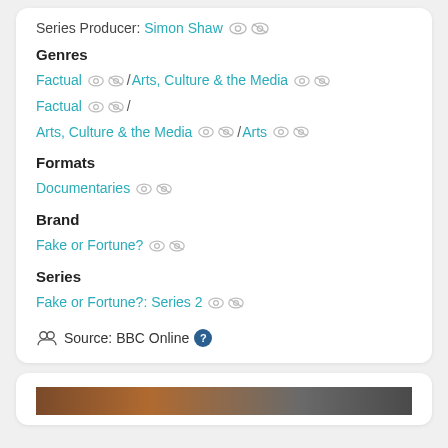Series Producer: Simon Shaw
Genres
Factual / Arts, Culture & the Media
Factual / Arts, Culture & the Media / Arts
Formats
Documentaries
Brand
Fake or Fortune?
Series
Fake or Fortune?: Series 2
Source: BBC Online